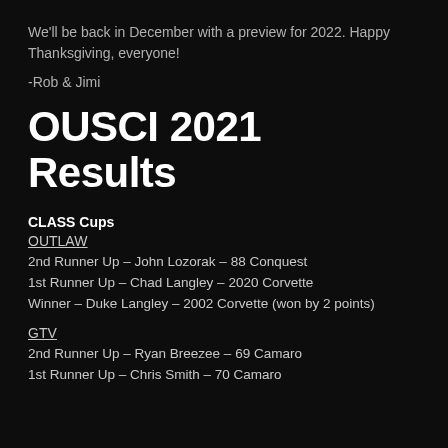We'll be back in December with a preview for 2022. Happy Thanksgiving, everyone!
-Rob & Jimi
OUSCI 2021 Results
CLASS Cups
OUTLAW
2nd Runner Up – John Lozorak – 88 Conquest
1st Runner Up – Chad Langley – 2020 Corvette
Winner – Duke Langley – 2002 Corvette (won by 2 points)
GTV
2nd Runner Up – Ryan Breezee – 69 Camaro
1st Runner Up – Chris Smith – 70 Camaro